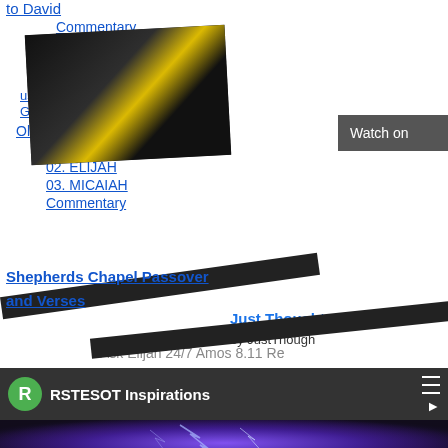to David
Commentary
Two Witnesses - Revelation 11 - Sons of Oil - Smith - Elijah and Moses
ust 5-23-2012 - Mayday - Study Group
Old Testament
01. AHIJAH
02. ELIJAH
03. MICAIAH
Commentary
Shepherds Chapel Passover
and Verses
[Figure (screenshot): Dark video thumbnail with yellow logo overlay on black background]
Watch on
Just Thoughts T
by JustThough
Just Thought
Ask Elijah 24/7 Amos 8.11 Re
[Figure (screenshot): RSTESOT Inspirations YouTube player with lightning/plasma background]